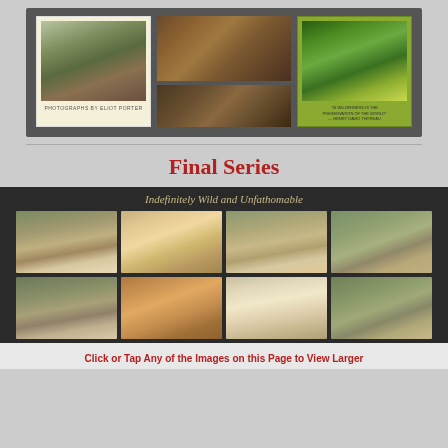[Figure (photo): Top gallery showing three book covers/photographs: left is a beige book cover with nature photo and text 'PHOTOGRAPHS BY ELIOT PORTER', center shows two nature photographs stacked (forest floor and woodland scene), right shows a green book cover with tree photograph and text about wilderness]
Final Series
[Figure (photo): Grid of 8 abstract nature photographs with motion blur effects showing water/stream scenes in muted greens, browns, and tans, under the title 'Indefinitely Wild and Unfathomable']
Click or Tap Any of the Images on this Page to View Larger